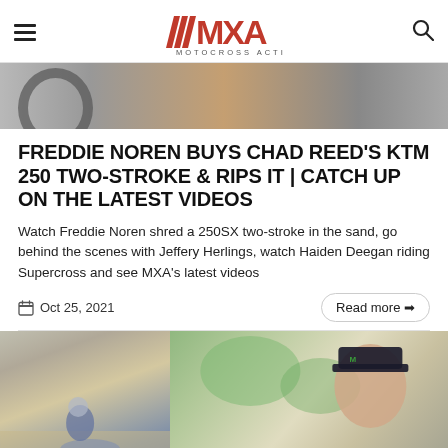MXA Motocross Action
[Figure (photo): Partial hero image showing motocross bike parts and equipment]
FREDDIE NOREN BUYS CHAD REED'S KTM 250 TWO-STROKE & RIPS IT | CATCH UP ON THE LATEST VIDEOS
Watch Freddie Noren shred a 250SX two-stroke in the sand, go behind the scenes with Jeffery Herlings, watch Haiden Deegan riding Supercross and see MXA's latest videos
Oct 25, 2021
Read more →
[Figure (photo): Two-panel image: left panel shows a motocross rider on a dirt track in sand, right panel shows a man in a Monster Energy hat looking up outdoors]